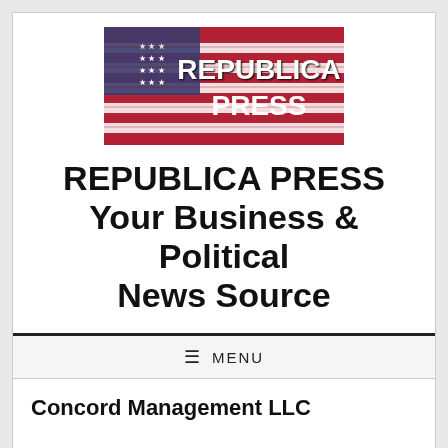[Figure (logo): Republica Press logo — brick wall background with American flag pattern in red, white, and blue. Bold white text reads REPUBLICA PRESS.]
REPUBLICA PRESS Your Business & Political News Source
≡ MENU
Concord Management LLC